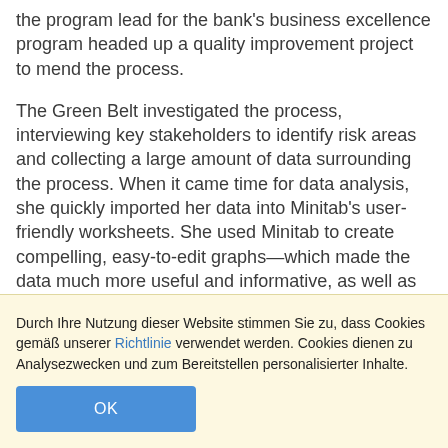the program lead for the bank's business excellence program headed up a quality improvement project to mend the process.
The Green Belt investigated the process, interviewing key stakeholders to identify risk areas and collecting a large amount of data surrounding the process. When it came time for data analysis, she quickly imported her data into Minitab's user-friendly worksheets. She used Minitab to create compelling, easy-to-edit graphs—which made the data much more useful and informative, as well as easier to present to key stakeholders. "I'm a new user to Minitab, and I was amazed by how fast I became acclimated to the software," she says. "I didn't have time to
Durch Ihre Nutzung dieser Website stimmen Sie zu, dass Cookies gemäß unserer Richtlinie verwendet werden. Cookies dienen zu Analysezwecken und zum Bereitstellen personalisierter Inhalte.
OK